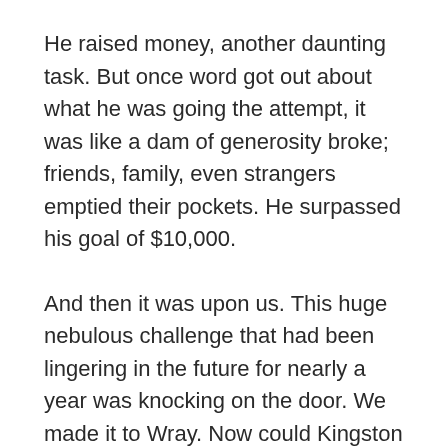He raised money, another daunting task. But once word got out about what he was going the attempt, it was like a dam of generosity broke; friends, family, even strangers emptied their pockets. He surpassed his goal of $10,000.
And then it was upon us. This huge nebulous challenge that had been lingering in the future for nearly a year was knocking on the door. We made it to Wray. Now could Kingston make it 166 miles?
On day one, we woke before dawn, chugged coffee and drove to a park in Wray. The support crew, an affable pair of 20-somethings who would be waiting on Kingston hand and foot during his leg, held up two poles, across which stretched a banner reading “Start” on one side and “Finish” on the other. They faced “Start”